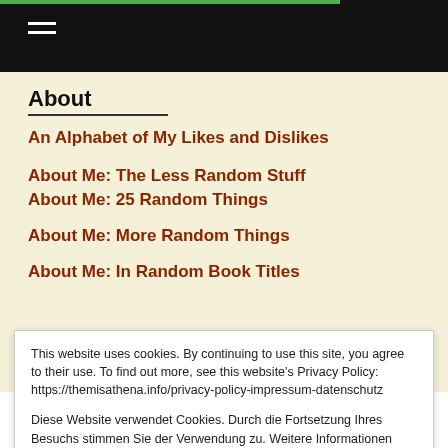About
An Alphabet of My Likes and Dislikes
About Me: The Less Random Stuff
About Me: 25 Random Things
About Me: More Random Things
About Me: In Random Book Titles
This website uses cookies. By continuing to use this site, you agree to their use. To find out more, see this website's Privacy Policy: https://themisathena.info/privacy-policy-impressum-datenschutz

Diese Website verwendet Cookies. Durch die Fortsetzung Ihres Besuchs stimmen Sie der Verwendung zu. Weitere Informationen finden Sie auf der Seite Impressum und Datenschutz: https://themisathena.info/privacy-policy-impressum-datenschutz Privacy & Cookie Policy
Close and accept